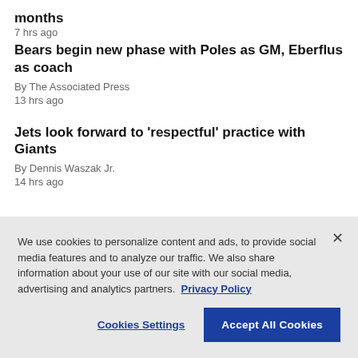months
7 hrs ago
Bears begin new phase with Poles as GM, Eberflus as coach
By The Associated Press
13 hrs ago
Jets look forward to 'respectful' practice with Giants
By Dennis Waszak Jr.
14 hrs ago
We use cookies to personalize content and ads, to provide social media features and to analyze our traffic. We also share information about your use of our site with our social media, advertising and analytics partners. Privacy Policy
Cookies Settings
Accept All Cookies